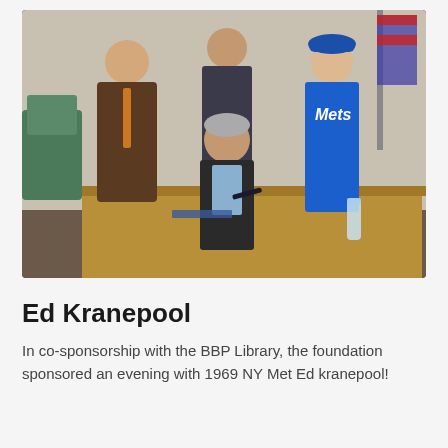[Figure (photo): Group photo of four people in a room that looks like a library or meeting room. A man in a brown blazer and orange-patterned tie stands on the left, a woman in dark jacket stands behind in the center, a young person wearing a blue NY Mets jersey and a Mets cap stands on the right, and an older man in a dark blazer sitting at a table in the front center, appearing to sign autographs. A water bottle is visible on the table and green chairs are in the background along with an American flag.]
Ed Kranepool
In co-sponsorship with the BBP Library, the foundation sponsored an evening with 1969 NY Met Ed kranepool!